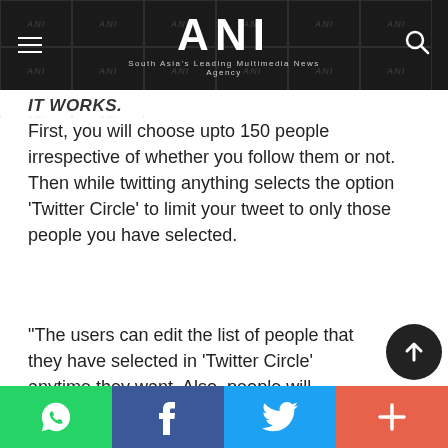ANI — South Asia's Leading Multimedia News Agency
IT WORKS.
First, you will choose upto 150 people irrespective of whether you follow them or not. Then while twitting anything selects the option 'Twitter Circle' to limit your tweet to only those people you have selected.
"The users can edit the list of people that they have selected in 'Twitter Circle' anytime they want. Also, people will
Share buttons: WhatsApp, Facebook, Twitter, More